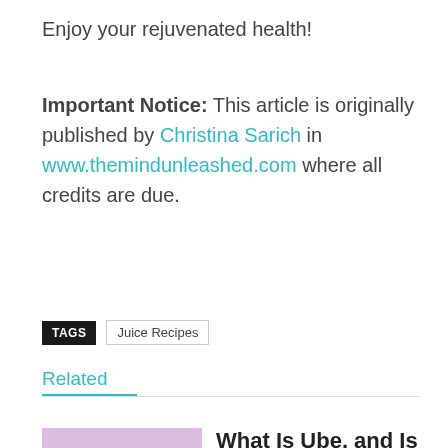Enjoy your rejuvenated health!
Important Notice: This article is originally published by Christina Sarich in www.themindunleashed.com where all credits are due.
TAGS  Juice Recipes
Related
What Is Ube, and Is It Good for You?